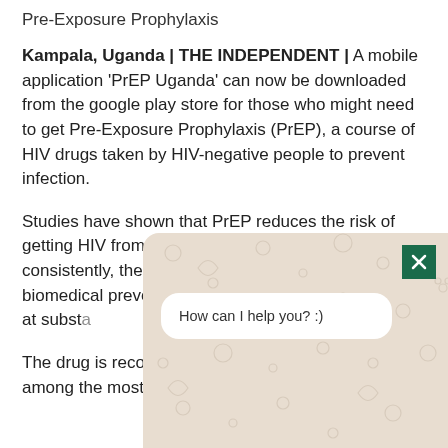Pre-Exposure Prophylaxis
Kampala, Uganda | THE INDEPENDENT | A mobile application 'PrEP Uganda' can now be downloaded from the google play store for those who might need to get Pre-Exposure Prophylaxis (PrEP), a course of HIV drugs taken by HIV-negative people to prevent infection.
Studies have shown that PrEP reduces the risk of getting HIV from sex by about 99 percent when taken consistently, thereby providing an effective biomedical prevention option for HIV-negative people at substa…
The drug is reco… among the most…
[Figure (screenshot): Chat widget overlay with decorative patterned background showing 'How can I help you? :)' bubble and a green close button]